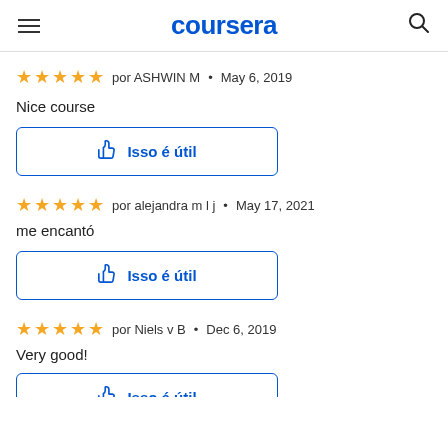coursera
★★★★★ por ASHWIN M • May 6, 2019
Nice course
[Figure (other): Isso é útil button with thumbs up icon]
★★★★★ por alejandra m l j • May 17, 2021
me encantó
[Figure (other): Isso é útil button with thumbs up icon]
★★★★★ por Niels v B • Dec 6, 2019
Very good!
[Figure (other): Isso é útil button with thumbs up icon (partially visible)]